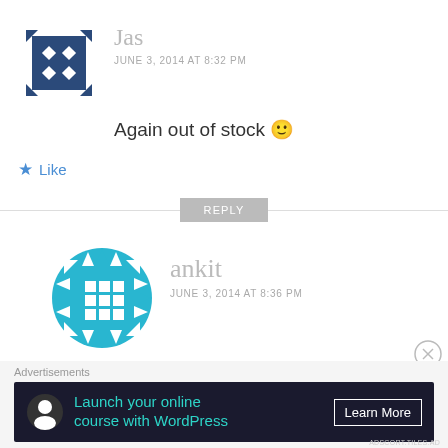[Figure (logo): Jas commenter avatar: dark blue square with diamond pattern and arrow corners]
Jas
JUNE 3, 2014 AT 8:32 PM
Again out of stock 🙂
★ Like
REPLY
[Figure (logo): ankit commenter avatar: circular snowflake/grid pattern in teal/cyan blue]
ankit
JUNE 3, 2014 AT 8:36 PM
yup booked the white
Advertisements
Launch your online course with WordPress  Learn More